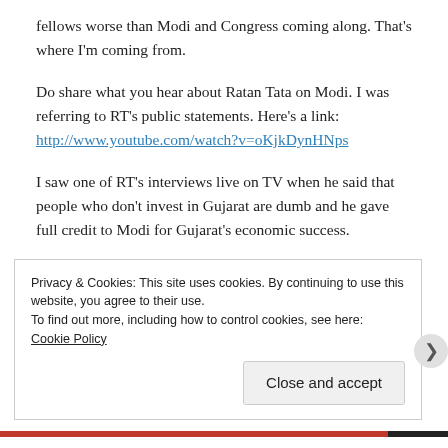fellows worse than Modi and Congress coming along. That's where I'm coming from.
Do share what you hear about Ratan Tata on Modi. I was referring to RT's public statements. Here's a link:
http://www.youtube.com/watch?v=oKjkDynHNps
I saw one of RT's interviews live on TV when he said that people who don't invest in Gujarat are dumb and he gave full credit to Modi for Gujarat's economic success.
This is another issue that perplexes me – which is that someone like Ratan Tata, who I hold in high esteem for his personal and
Privacy & Cookies: This site uses cookies. By continuing to use this website, you agree to their use.
To find out more, including how to control cookies, see here: Cookie Policy
Close and accept